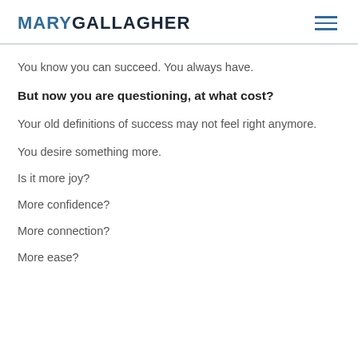MARYGALLAGHER
You know you can succeed. You always have.
But now you are questioning, at what cost?
Your old definitions of success may not feel right anymore.
You desire something more.
Is it more joy?
More confidence?
More connection?
More ease?